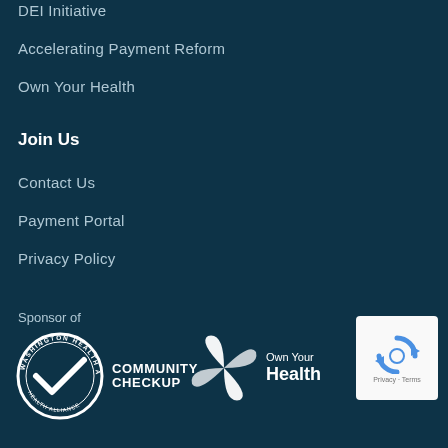DEI Initiative
Accelerating Payment Reform
Own Your Health
Join Us
Contact Us
Payment Portal
Privacy Policy
Sponsor of
[Figure (logo): Washington Health Alliance Community Checkup logo — circular badge with checkmark and text 'COMMUNITY CHECKUP']
[Figure (logo): Own Your Health logo — circular pinwheel icon with text 'Own Your Health']
[Figure (other): reCAPTCHA widget box with recycling-arrow icon and 'Privacy - Terms' footer]